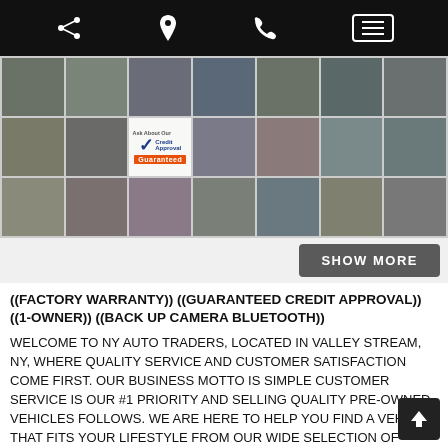[Figure (screenshot): Mobile website navigation bar with share, location, phone, and hamburger menu icons on black background]
[Figure (photo): Grid of car listing thumbnail photos showing exterior and interior views of a Toyota RAV4, plus a Credit Approval Guaranteed badge]
SHOW MORE
((FACTORY WARRANTY)) ((GUARANTEED CREDIT APPROVAL)) ((1-OWNER)) ((BACK UP CAMERA BLUETOOTH))
WELCOME TO NY AUTO TRADERS, LOCATED IN VALLEY STREAM, NY, WHERE QUALITY SERVICE AND CUSTOMER SATISFACTION COME FIRST. OUR BUSINESS MOTTO IS SIMPLE CUSTOMER SERVICE IS OUR #1 PRIORITY AND SELLING QUALITY PRE-OWNED VEHICLES FOLLOWS. WE ARE HERE TO HELP YOU FIND A VEHICLE THAT FITS YOUR LIFESTYLE FROM OUR WIDE SELECTION OF USED CARS, TRUCKS, AND SUVS. WE PRID